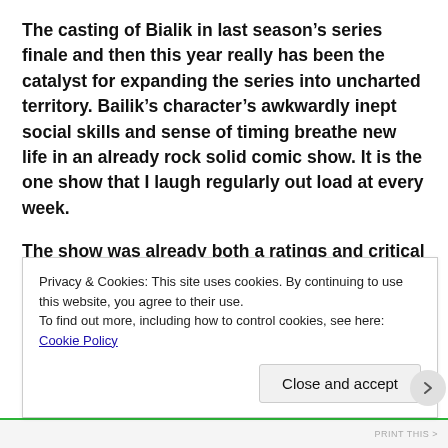The casting of Bialik in last season’s series finale and then this year really has been the catalyst for expanding the series into uncharted territory. Bailik’s character’s awkwardly inept social skills and sense of timing breathe new life in an already rock solid comic show. It is the one show that I laugh regularly out load at every week.
The show was already both a ratings and critical hit in its previous seasons. This led CBS  to move the show to the ever-popular Thursday night 8 pm slot (which was once the time slot of “Friends” on NBC – coincidence?). If you aren’t a fan yet, you really need to check it out. If you’re a fan
a
Privacy & Cookies: This site uses cookies. By continuing to use this website, you agree to their use.
To find out more, including how to control cookies, see here: Cookie Policy
Close and accept